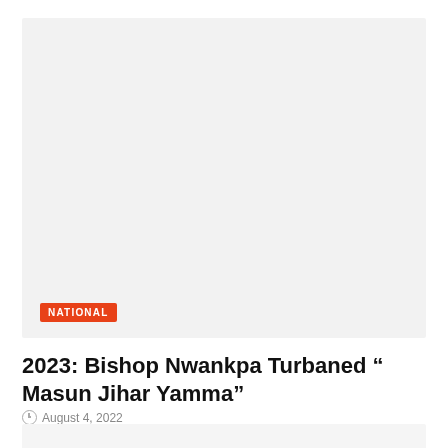[Figure (photo): Large image placeholder area with light grey background]
NATIONAL
2023: Bishop Nwankpa Turbaned “ Masun Jihar Yamma”
August 4, 2022